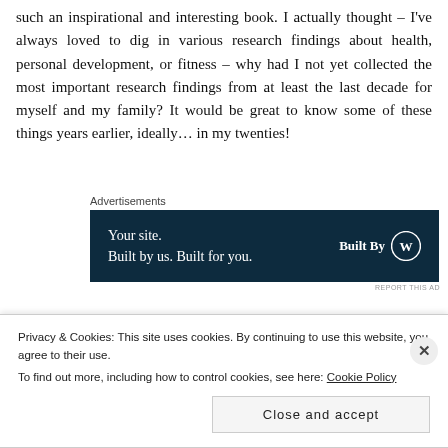such an inspirational and interesting book. I actually thought – I've always loved to dig in various research findings about health, personal development, or fitness – why had I not yet collected the most important research findings from at least the last decade for myself and my family? It would be great to know some of these things years earlier, ideally… in my twenties!
[Figure (other): Advertisement banner: dark navy background with white text 'Your site. Built by us. Built for you.' and 'Built By WordPress logo' on the right side. Labeled 'Advertisements' above.]
If you are interested in the book, it can be bought here:
Privacy & Cookies: This site uses cookies. By continuing to use this website, you agree to their use. To find out more, including how to control cookies, see here: Cookie Policy
Close and accept